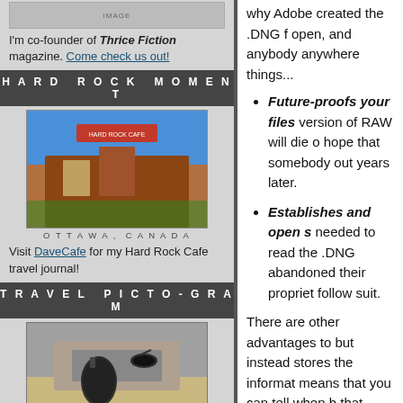[Figure (photo): Small thumbnail image at top of left sidebar]
I'm co-founder of Thrice Fiction magazine. Come check us out!
HARD ROCK MOMENT
[Figure (photo): Photo of Hard Rock Cafe in Ottawa, Canada]
OTTAWA, CANADA
Visit DaveCafe for my Hard Rock Cafe travel journal!
TRAVEL PICTO-GRAM
[Figure (photo): Photo of bird in London, England]
LONDON, ENGLAND
Visit my travel map to see where I have been in this world!
BADGEMANIA
[Figure (screenshot): Blogography.com! badge/button]
[Figure (screenshot): Entries feed icons and label]
why Adobe created the .DNG f open, and anybody anywhere things...
Future-proofs your files version of RAW will die hope that somebody out years later.
Establishes and open s needed to read the .DNG abandoned their propriet follow suit.
There are other advantages to but instead stores the informat means that you can tell when b that .DNG files are also smalle
So, ultimately, I totally embrace significant time to your import,